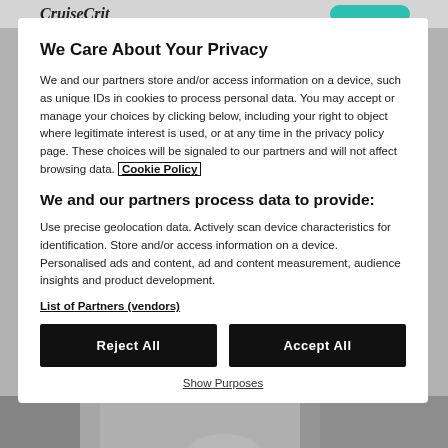CruiseCrit [header bar]
We Care About Your Privacy
We and our partners store and/or access information on a device, such as unique IDs in cookies to process personal data. You may accept or manage your choices by clicking below, including your right to object where legitimate interest is used, or at any time in the privacy policy page. These choices will be signaled to our partners and will not affect browsing data. Cookie Policy
We and our partners process data to provide:
Use precise geolocation data. Actively scan device characteristics for identification. Store and/or access information on a device. Personalised ads and content, ad and content measurement, audience insights and product development.
List of Partners (vendors)
Reject All
Accept All
Show Purposes
[Figure (photo): Bottom portion of a webpage visible behind modal, showing a photo of people on a street or similar scene.]